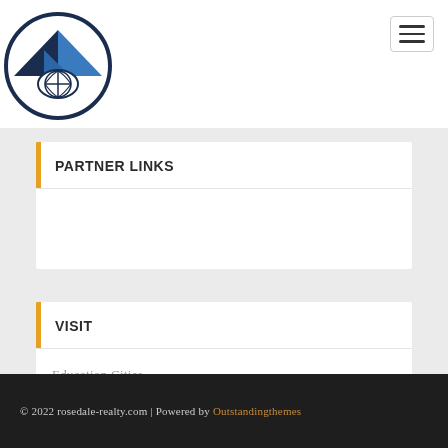[Figure (logo): Rosedale Realty logo: house with roof peaks and circular border, dark navy blue]
PARTNER LINKS
VISIT
Education Cities
© 2022 rosedale-realty.com | Powered by Outstandingthemes